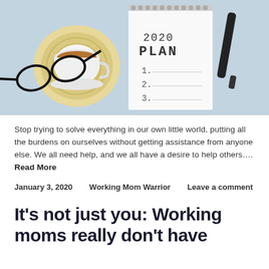[Figure (photo): Flat lay photo on light blue background showing a cup of tea on a woven coaster, a spiral-bound notebook with '2020 PLAN' written at top and numbered list 1. 2. 3. below, a black marker/pen, and black-rimmed glasses.]
Stop trying to solve everything in our own little world, putting all the burdens on ourselves without getting assistance from anyone else. We all need help, and we all have a desire to help others.... Read More
January 3, 2020   Working Mom Warrior   Leave a comment
It's not just you: Working moms really don't have